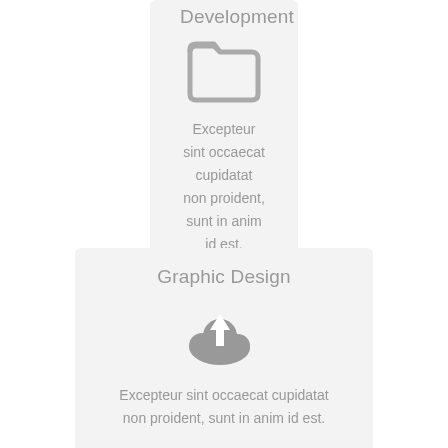Development
[Figure (illustration): Gray open folder icon]
Excepteur sint occaecat cupidatat non proident, sunt in anim id est.
Graphic Design
[Figure (illustration): Gray cloud upload icon]
Excepteur sint occaecat cupidatat non proident, sunt in anim id est.